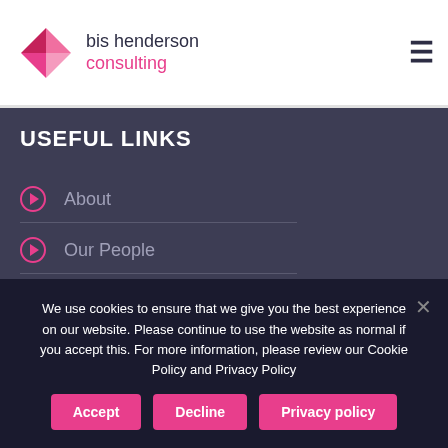[Figure (logo): Bis Henderson Consulting logo — pink diamond/kite shape and dark text]
USEFUL LINKS
About
Our People
Supply Chain Consulting
Logistics Consulting
We use cookies to ensure that we give you the best experience on our website. Please continue to use the website as normal if you accept this. For more information, please review our Cookie Policy and Privacy Policy
Accept | Decline | Privacy policy